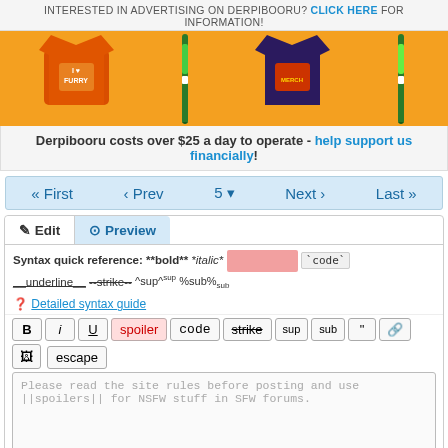INTERESTED IN ADVERTISING ON DERPIBOORU? CLICK HERE FOR INFORMATION!
[Figure (illustration): Orange advertisement banner with t-shirts and pens]
Derpibooru costs over $25 a day to operate - help support us financially!
« First ‹ Prev 5 Next › Last »
Edit | Preview tabs
Syntax quick reference: **bold** *italic* [spoiler] `code` __underline__ --strike-- ^sup^ %sub%
❓ Detailed syntax guide
Toolbar buttons: B i U spoiler code strike sup sub quote link image escape
Please read the site rules before posting and use ||spoilers|| for NSFW stuff in SFW forums.